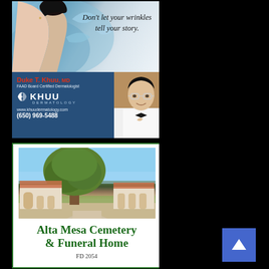[Figure (photo): Dermatology advertisement. Top portion shows a woman with water splashing and italic text 'Don't let your wrinkles tell your story.' Bottom portion shows blue background with Dr. Duke T. Khuu MD information, Khuu Dermatology logo, website www.khuudermatology.com, phone (650) 969-5488, and a photo of the doctor.]
[Figure (photo): Alta Mesa Cemetery & Funeral Home advertisement. Shows a photo of a building with a large tree, and green text reading 'Alta Mesa Cemetery & Funeral Home' with 'FD 2054' below.]